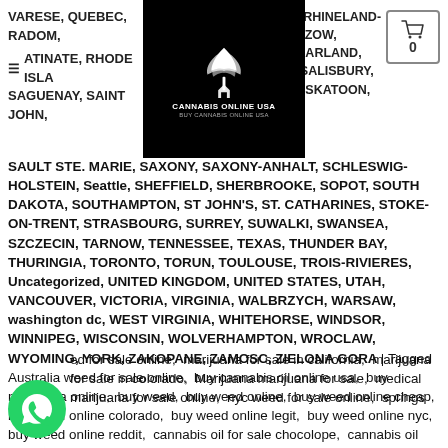VARESE, QUEBEC, RADOM, ..., RHINELAND-PALATINATE, RHODE ISLAND, ..., ESZOW, SAARLAND, SAGUENAY, SAINT JOHN, S..., SALISBURY, SASKATOON,
[Figure (logo): Cannabis Online USA logo - black square with white cannabis leaf and house icon, text 'CANNABIS ONLINE USA' and 'BUY CANNABIS ONLINE USA']
SAULT STE. MARIE, SAXONY, SAXONY-ANHALT, SCHLESWIG-HOLSTEIN, Seattle, SHEFFIELD, SHERBROOKE, SOPOT, SOUTH DAKOTA, SOUTHAMPTON, ST JOHN'S, ST. CATHARINES, STOKE-ON-TRENT, STRASBOURG, SURREY, SUWALKI, SWANSEA, SZCZECIN, TARNOW, TENNESSEE, TEXAS, THUNDER BAY, THURINGIA, TORONTO, TORUN, TOULOUSE, TROIS-RIVIERES, Uncategorized, UNITED KINGDOM, UNITED STATES, UTAH, VANCOUVER, VICTORIA, VIRGINIA, WALBRZYCH, WARSAW, washington dc, WEST VIRGINIA, WHITEHORSE, WINDSOR, WINNIPEG, WISCONSIN, WOLVERHAMPTON, WROCLAW, WYOMING, YORK, ZAKOPANE, ZAMOSC, ZIELONA GORA | Tagged Australia weed for sale online, buy cannabis oil online usa, buy marijuana online, buy weed, buy weed online, buy weed online cheap, buy weed online colorado, buy weed online legit, buy weed online nyc, buy weed online reddit, cannabis oil for sale chocolope, cannabis oil hemp cbd oil, cheap weed for sale online in California, denver weed for sale in usa, Khalifa Kush Grade A (hybrid), ...ed for sale online, marijuana for sale in california, marijuana for sale in colorado, Marijuana marijuana for sale, medical marijuana for sale online, nyc weed for sale online, springs marijuana for sale in usa